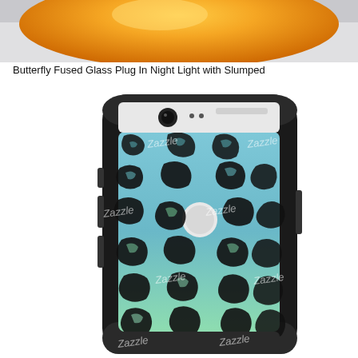[Figure (photo): Top portion of an orange glass night light product against a white background]
Butterfly Fused Glass Plug In Night Light with Slumped
[Figure (photo): A smartphone case (Google Pixel OtterBox style) with a teal/mint blue leopard print pattern featuring black spots on a light blue-to-mint gradient background. Multiple Zazzle watermarks overlaid across the image.]